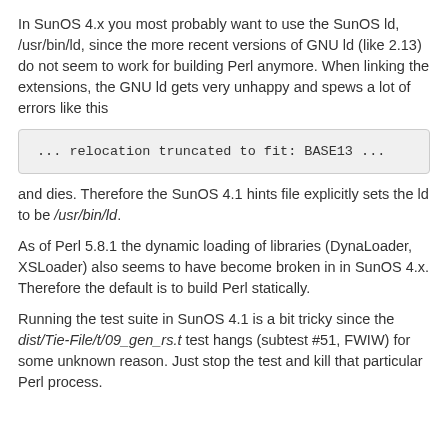In SunOS 4.x you most probably want to use the SunOS ld, /usr/bin/ld, since the more recent versions of GNU ld (like 2.13) do not seem to work for building Perl anymore. When linking the extensions, the GNU ld gets very unhappy and spews a lot of errors like this
[Figure (other): Code block showing: ... relocation truncated to fit: BASE13 ...]
and dies. Therefore the SunOS 4.1 hints file explicitly sets the ld to be /usr/bin/ld.
As of Perl 5.8.1 the dynamic loading of libraries (DynaLoader, XSLoader) also seems to have become broken in in SunOS 4.x. Therefore the default is to build Perl statically.
Running the test suite in SunOS 4.1 is a bit tricky since the dist/Tie-File/t/09_gen_rs.t test hangs (subtest #51, FWIW) for some unknown reason. Just stop the test and kill that particular Perl process.